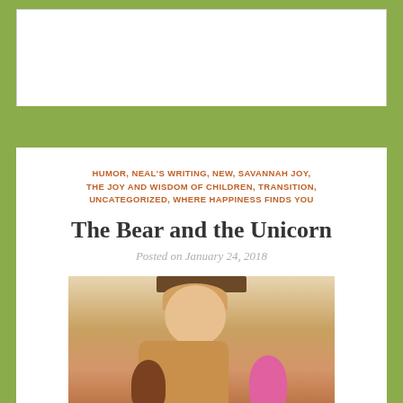[Figure (photo): White header banner area at top of blog page]
HUMOR, NEAL'S WRITING, NEW, SAVANNAH JOY, THE JOY AND WISDOM OF CHILDREN, TRANSITION, UNCATEGORIZED, WHERE HAPPINESS FINDS YOU
The Bear and the Unicorn
Posted on January 24, 2018
[Figure (photo): Photo of a smiling man holding a small brown teddy bear and a pink unicorn stuffed animal]